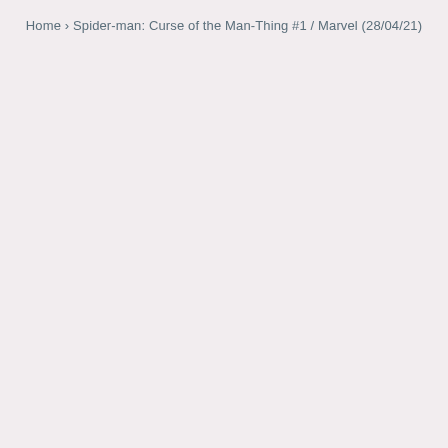Home › Spider-man: Curse of the Man-Thing #1 / Marvel (28/04/21)